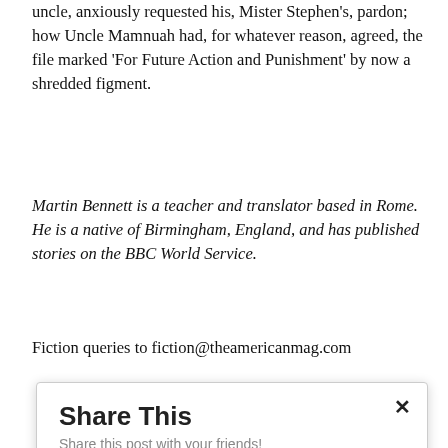uncle, anxiously requested his, Mister Stephen's, pardon; how Uncle Mamnuah had, for whatever reason, agreed, the file marked ‘For Future Action and Punishment’ by now a shredded figment.
Martin Bennett is a teacher and translator based in Rome. He is a native of Birmingham, England, and has published stories on the BBC World Service.
Fiction queries to fiction@theamericanmag.com
[Figure (screenshot): Share This modal dialog with title 'Share This', subtitle 'Share this post with your friends!', a close button (x), a Facebook button (blue), a Twitter button (light blue), and a Print Friendly button (green).]